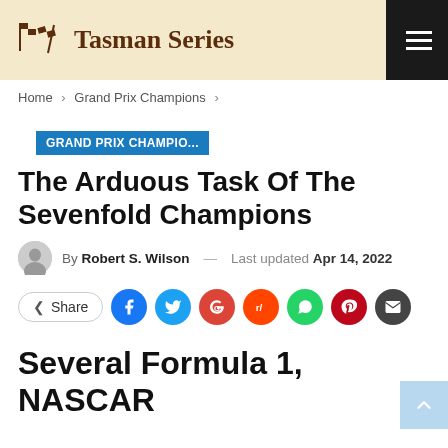Tasman Series
Home > Grand Prix Champions >
GRAND PRIX CHAMPIO...
The Arduous Task Of The Sevenfold Champions
By Robert S. Wilson — Last updated Apr 14, 2022
Share (social icons: Facebook, Twitter, Google, Reddit, WhatsApp, Pinterest, Email)
Several Formula 1, NASCAR